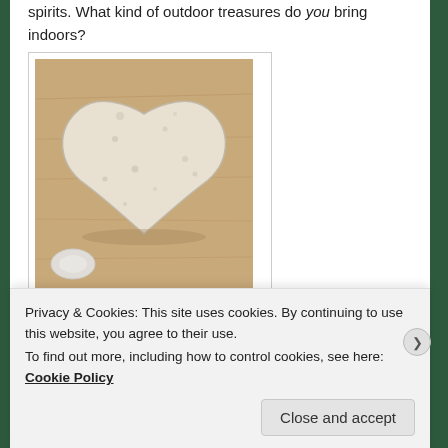spirits. What kind of outdoor treasures do you bring indoors?
[Figure (photo): A heart-shaped white/cream rock or stone sitting on a light wooden surface, with a small white rock or shell partially visible at the bottom left.]
You know, they don't even have to be living things. Just
[partially obscured text]
Privacy & Cookies: This site uses cookies. By continuing to use this website, you agree to their use.
To find out more, including how to control cookies, see here: Cookie Policy
Close and accept